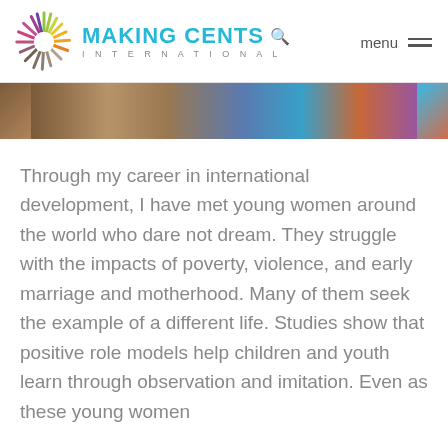[Figure (logo): Making Cents International logo with colorful sunburst icon, teal MAKING CENTS text with search icon, and INTERNATIONAL in grey spaced letters]
[Figure (photo): A horizontal photo strip showing a group of young women/girls, partially cropped at top]
Through my career in international development, I have met young women around the world who dare not dream. They struggle with the impacts of poverty, violence, and early marriage and motherhood. Many of them seek the example of a different life. Studies show that positive role models help children and youth learn through observation and imitation. Even as these young women